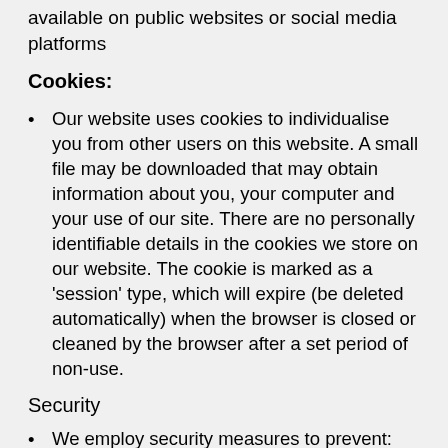available on public websites or social media platforms
Cookies:
Our website uses cookies to individualise you from other users on this website. A small file may be downloaded that may obtain information about you, your computer and your use of our site. There are no personally identifiable details in the cookies we store on our website. The cookie is marked as a 'session' type, which will expire (be deleted automatically) when the browser is closed or cleaned by the browser after a set period of non-use.
Security
We employ security measures to prevent: